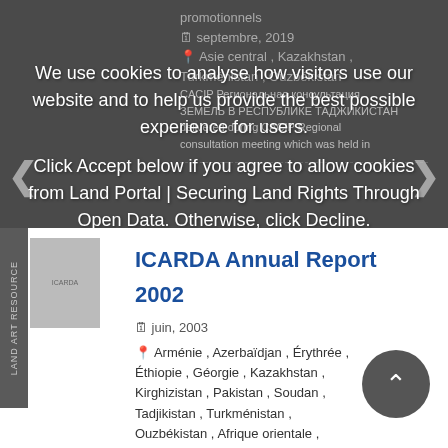promotionnels
septembre, 2019
Asie central , Kazakhstan , Turkménistan , Ouzbékistan
CACIP Региональная консультация. ЗЕМЕЛЬ В РЕСПУБЛИКЕ ТАДЖИКИСТАН
delivered during CACIP Regional consultation meeting which was held in
We use cookies to analyse how visitors use our website and to help us provide the best possible experience for users.
Click Accept below if you agree to allow cookies from Land Portal | Securing Land Rights Through Open Data. Otherwise, click Decline.
Acceptez
Decline
ICARDA Annual Report 2002
juin, 2003
Arménie , Azerbaïdjan , Érythrée , Éthiopie , Géorgie , Kazakhstan , Kirghizistan , Pakistan , Soudan , Tadjikistan , Turkménistan , Ouzbékistan , Afrique orientale , Afrique septentrionale , Asie méridionale , Asie central , Asie occidentale ,